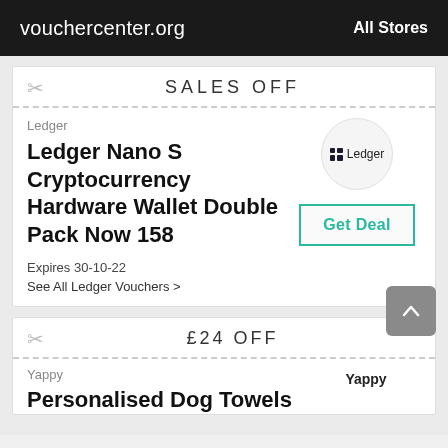vouchercenter.org   All Stores
SALES OFF
Ledger
Ledger Nano S Cryptocurrency Hardware Wallet Double Pack Now 158
Expires 30-10-22
See All Ledger Vouchers >
Get Deal
£24 OFF
Yappy
Personalised Dog Towels
Yappy